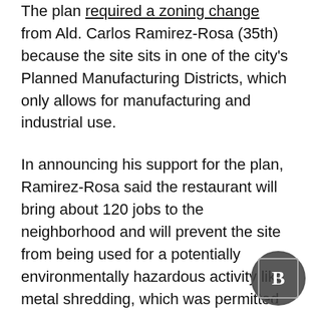The plan required a zoning change from Ald. Carlos Ramirez-Rosa (35th) because the site sits in one of the city's Planned Manufacturing Districts, which only allows for manufacturing and industrial use.
In announcing his support for the plan, Ramirez-Rosa said the restaurant will bring about 120 jobs to the neighborhood and will prevent the site from being used for a potentially environmentally hazardous activity like metal shredding, which was permitted under the Planned Manufacturing District.
Portillo's was founded by Dick Portillo's in 1963 in Villa Park with Portillo selling hot dogs out of a trailer. It now has 60 locations across the country,